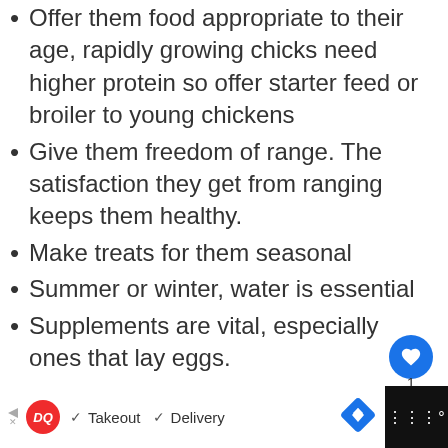Offer them food appropriate to their age, rapidly growing chicks need higher protein so offer starter feed or broiler to young chickens
Give them freedom of range. The satisfaction they get from ranging keeps them healthy.
Make treats for them seasonal
Summer or winter, water is essential
Supplements are vital, especially ones that lay eggs.
[Figure (screenshot): What's Next promo box showing 'How Often Should You...' article thumbnail]
[Figure (screenshot): Advertisement bar: Dairy Queen DQ logo with Takeout and Delivery checkmarks, blue diamond navigation icon, black right panel]